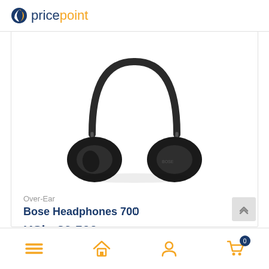pricepoint
[Figure (photo): Bose Headphones 700 over-ear headphones in black, shown from front/top angle against white background]
Over-Ear
Bose Headphones 700
KShs39,500
★★★★★ (empty stars, no rating)
Navigation bar: menu, home, account, cart (0)